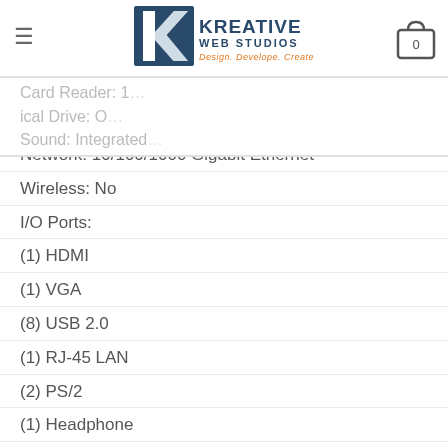Kreative Web Studios — Design. Develope. Create. Cart: 0
Card Reader: [partially visible]
Optical Drive: [partially visible]
Sound: Integrated [partially visible]
Network: 10/100/1000 Gigabit Ethernet
Wireless: No
I/O Ports:
(1) HDMI
(1) VGA
(8) USB 2.0
(1) RJ-45 LAN
(2) PS/2
(1) Headphone
(1) Microphone
(1) Audio: Line-in
(1) Audio: Line-out
Expansion Slots & Bays:
(1) Half-Height PCIe x16 Slot
(1) Half-Height PCIe x16 (wired x4) Slot [partially visible]